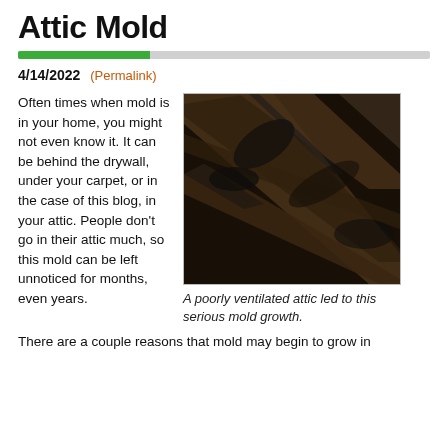Attic Mold
4/14/2022 (Permalink)
Often times when mold is in your home, you might not even know it. It can be behind the drywall, under your carpet, or in the case of this blog, in your attic. People don't go in their attic much, so this mold can be left unnoticed for months, even years.
[Figure (photo): Dark attic interior showing wooden roof rafters and beams heavily covered with black mold growth, from a poorly ventilated attic.]
A poorly ventilated attic led to this serious mold growth.
There are a couple reasons that mold may begin to grow in